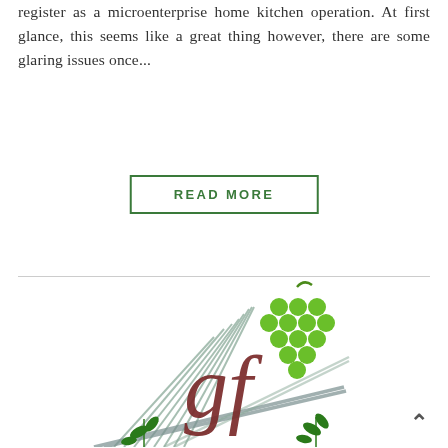register as a microenterprise home kitchen operation. At first glance, this seems like a great thing however, there are some glaring issues once...
READ MORE
[Figure (logo): Logo featuring a stylized 'GF' script in dark red/brown with green grape cluster, overlaid on crossed whisk and knife/spatula kitchen utensils with leaf accents]